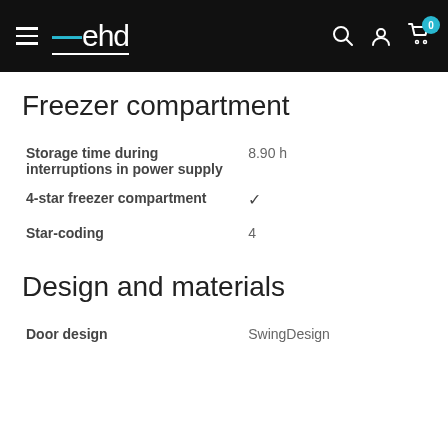ehd
Freezer compartment
| Property | Value |
| --- | --- |
| Storage time during interruptions in power supply | 8.90 h |
| 4-star freezer compartment | ✓ |
| Star-coding | 4 |
Design and materials
| Property | Value |
| --- | --- |
| Door design | SwingDesign |